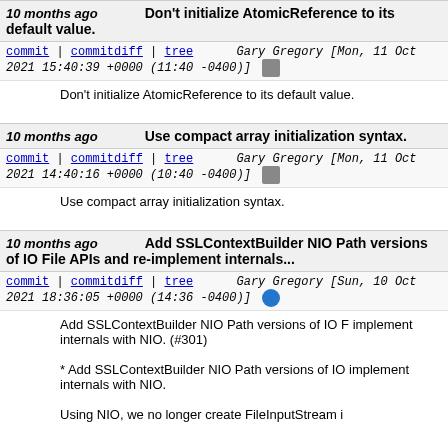10 months ago   Don't initialize AtomicReference to its default value.
commit | commitdiff | tree   Gary Gregory [Mon, 11 Oct 2021 15:40:39 +0000 (11:40 -0400)]
Don't initialize AtomicReference to its default value.
10 months ago   Use compact array initialization syntax.
commit | commitdiff | tree   Gary Gregory [Mon, 11 Oct 2021 14:40:16 +0000 (10:40 -0400)]
Use compact array initialization syntax.
10 months ago   Add SSLContextBuilder NIO Path versions of IO File APIs and re-implement internals...
commit | commitdiff | tree   Gary Gregory [Sun, 10 Oct 2021 18:36:05 +0000 (14:36 -0400)]
Add SSLContextBuilder NIO Path versions of IO File APIs and re-implement internals with NIO. (#301)

* Add SSLContextBuilder NIO Path versions of IO File APIs and re-implement
internals with NIO.

Using NIO, we no longer create FileInputStream in